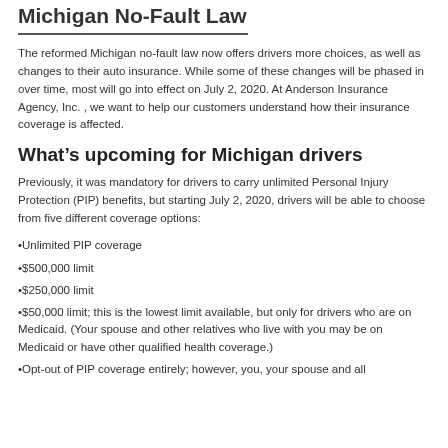Michigan No-Fault Law
The reformed Michigan no-fault law now offers drivers more choices, as well as changes to their auto insurance. While some of these changes will be phased in over time, most will go into effect on July 2, 2020. At Anderson Insurance Agency, Inc. , we want to help our customers understand how their insurance coverage is affected.
What’s upcoming for Michigan drivers
Previously, it was mandatory for drivers to carry unlimited Personal Injury Protection (PIP) benefits, but starting July 2, 2020, drivers will be able to choose from five different coverage options:
•Unlimited PIP coverage
•$500,000 limit
•$250,000 limit
•$50,000 limit; this is the lowest limit available, but only for drivers who are on Medicaid. (Your spouse and other relatives who live with you may be on Medicaid or have other qualified health coverage.)
•Opt-out of PIP coverage entirely; however, you, your spouse and all